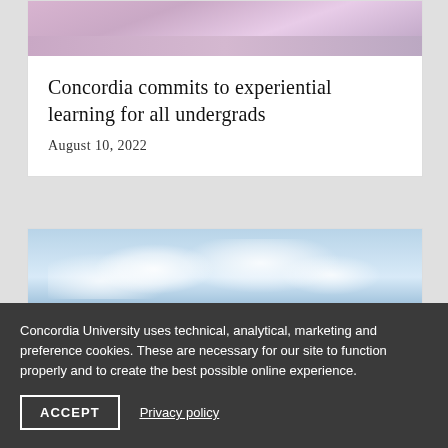[Figure (photo): Top portion of a card showing a person in pink/lavender clothing, cropped]
Concordia commits to experiential learning for all undergrads
August 10, 2022
[Figure (photo): Sky with white clouds, blue sky background]
Concordia University uses technical, analytical, marketing and preference cookies. These are necessary for our site to function properly and to create the best possible online experience.
ACCEPT
Privacy policy